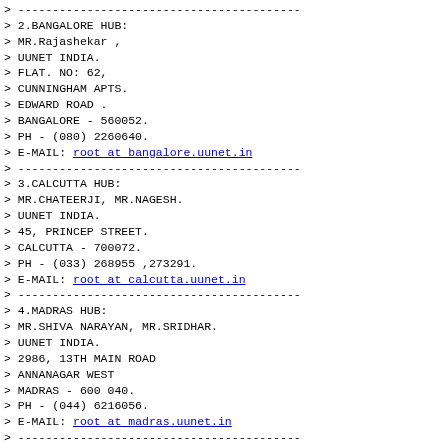> -----------------------------------------
> 2.BANGALORE HUB:
> MR.Rajashekar ,
> UUNET INDIA.
> FLAT. NO: 62,
> CUNNINGHAM APTS.
> EDWARD ROAD .
> BANGALORE - 560052.
> PH - (080) 2260640.
> E-MAIL: root at bangalore.uunet.in
> -----------------------------------------
> 3.CALCUTTA HUB:
> MR.CHATEERJI, MR.NAGESH.
> UUNET INDIA.
> 45, PRINCEP STREET.
> CALCUTTA - 700072.
> PH - (033) 268955 ,273291.
> E-MAIL: root at calcutta.uunet.in
> -----------------------------------------
> 4.MADRAS HUB:
> MR.SHIVA NARAYAN, MR.SRIDHAR.
> UUNET INDIA.
> 2986, 13TH MAIN ROAD
> ANNANAGAR WEST
> MADRAS - 600 040.
> PH - (044) 6216056.
> E-MAIL: root at madras.uunet.in
> -----------------------------------------
> 5. BOMBAY HUB:
> Mr.Srinivas, mahidhar,-